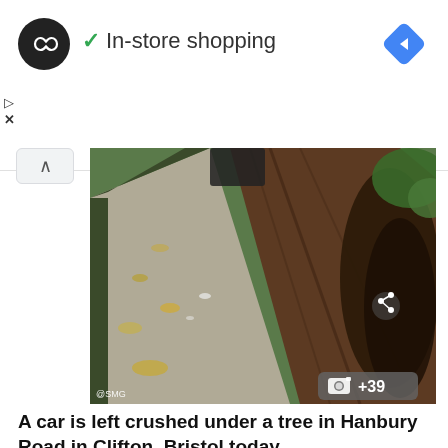[Figure (screenshot): Ad banner showing a circular logo with infinity symbol, green checkmark, text 'In-store shopping', and blue diamond navigation icon on the right. Play and close buttons on left side.]
[Figure (photo): A car crushed under a fallen tree on a road/pavement in Clifton, Bristol. Shows a large tree trunk lying across a car on a sidewalk with autumn leaves. Photo count badge shows camera icon and +39. Share icon visible. Watermark '@SMG' at bottom left.]
A car is left crushed under a tree in Hanbury Road in Clifton, Bristol today